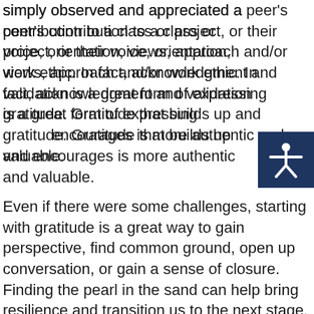simply observed and appreciated a peer's contribution to a class or project, or their voice, orientation, views, approach and/or work ethic. In fact, acknowledgment and validation is a great form of expressing gratitude. Gratitude that builds up and encourages is more authentic and valuable.
[Figure (illustration): Accessibility icon: white figure with arms outstretched on dark navy blue square background]
Even if there were some challenges, starting with gratitude is a great way to gain perspective, find common ground, open up conversation, or gain a sense of closure. Finding the pearl in the sand can help bring resilience and transition us to the next stage. Gratitude is a great counterbalance to challenging situations, as it can be more humanizing to stay connected through gratitude, despite of